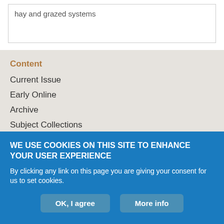hay and grazed systems
Content
Current Issue
Early Online
Archive
Subject Collections
Info For
Authors
WE USE COOKIES ON THIS SITE TO ENHANCE YOUR USER EXPERIENCE
By clicking any link on this page you are giving your consent for us to set cookies.
OK, I agree
More info